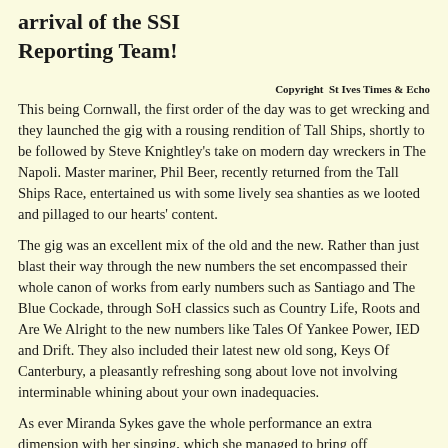arrival of the SSI Reporting Team!
Copyright  St Ives Times & Echo
This being Cornwall, the first order of the day was to get wrecking and they launched the gig with a rousing rendition of Tall Ships, shortly to be followed by Steve Knightley's take on modern day wreckers in The Napoli. Master mariner, Phil Beer, recently returned from the Tall Ships Race, entertained us with some lively sea shanties as we looted and pillaged to our hearts' content.
The gig was an excellent mix of the old and the new. Rather than just blast their way through the new numbers the set encompassed their whole canon of works from early numbers such as Santiago and The Blue Cockade, through SoH classics such as Country Life, Roots and Are We Alright to the new numbers like Tales Of Yankee Power, IED and Drift. They also included their latest new old song, Keys Of Canterbury, a pleasantly refreshing song about love not involving interminable whining about your own inadequacies.
As ever Miranda Sykes gave the whole performance an extra dimension with her singing, which she managed to bring off effortlessly despite being forced to play a bloody enormous violin